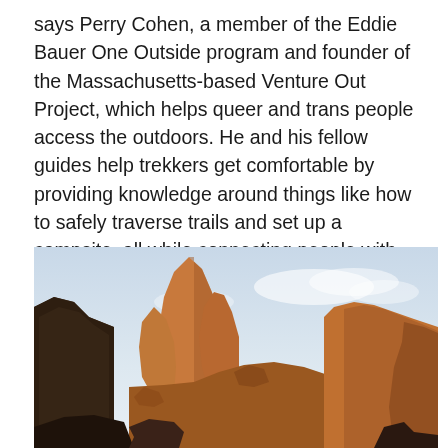says Perry Cohen, a member of the Eddie Bauer One Outside program and founder of the Massachusetts-based Venture Out Project, which helps queer and trans people access the outdoors. He and his fellow guides help trekkers get comfortable by providing knowledge around things like how to safely traverse trails and set up a campsite, all while connecting people with nature and members of their community. It also provides workshops for organizations and brands to make products and companies more welcoming and accessible.
[Figure (photo): Photo of dramatic rocky spires and cliffs in a desert landscape with a light blue sky in the background. The rocks are orange-brown and jagged, characteristic of a desert rock formation.]